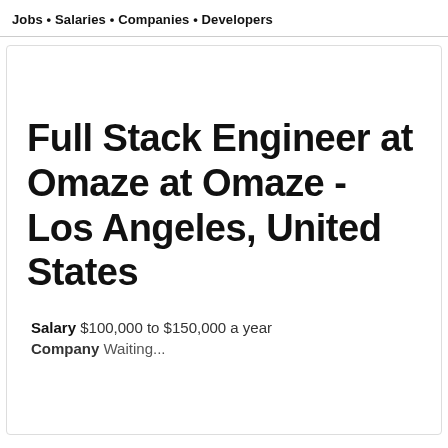Jobs • Salaries • Companies • Developers
Full Stack Engineer at Omaze at Omaze - Los Angeles, United States
Salary $100,000 to $150,000 a year
Company Waiting...